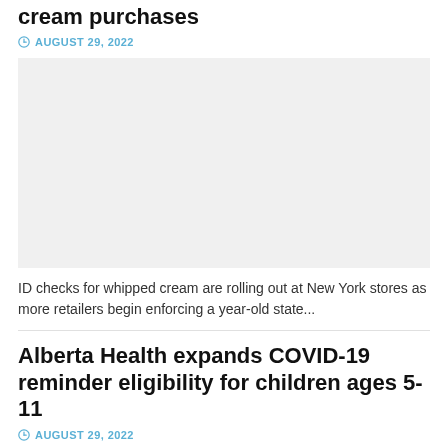cream purchases
AUGUST 29, 2022
[Figure (photo): Light grey placeholder image for article about whipped cream ID checks]
ID checks for whipped cream are rolling out at New York stores as more retailers begin enforcing a year-old state...
Alberta Health expands COVID-19 reminder eligibility for children ages 5-11
AUGUST 29, 2022